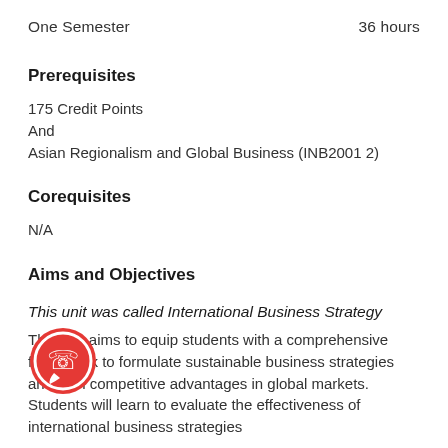One Semester    36 hours
Prerequisites
175 Credit Points
And
Asian Regionalism and Global Business (INB2001 2)
Corequisites
N/A
Aims and Objectives
This unit was called International Business Strategy
This unit aims to equip students with a comprehensive framework to formulate sustainable business strategies and gain competitive advantages in global markets. Students will learn to evaluate the effectiveness of international business strategies